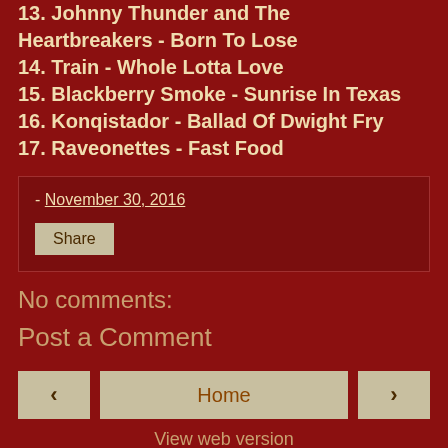13. Johnny Thunder and The Heartbreakers - Born To Lose
14. Train - Whole Lotta Love
15. Blackberry Smoke - Sunrise In Texas
16. Konqistador - Ballad Of Dwight Fry
17. Raveonettes - Fast Food
- November 30, 2016
Share
No comments:
Post a Comment
Home
View web version